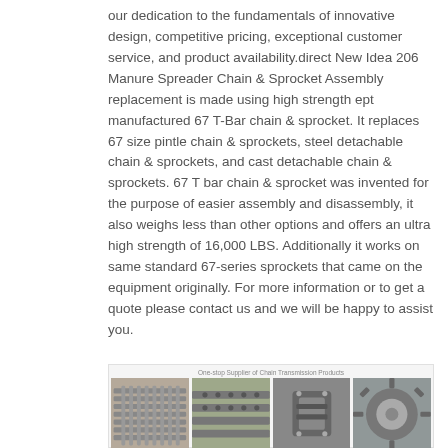our dedication to the fundamentals of innovative design, competitive pricing, exceptional customer service, and product availability.direct New Idea 206 Manure Spreader Chain & Sprocket Assembly replacement is made using high strength ept manufactured 67 T-Bar chain & sprocket. It replaces 67 size pintle chain & sprockets, steel detachable chain & sprockets, and cast detachable chain & sprockets. 67 T bar chain & sprocket was invented for the purpose of easier assembly and disassembly, it also weighs less than other options and offers an ultra high strength of 16,000 LBS. Additionally it works on same standard 67-series sprockets that came on the equipment originally. For more information or to get a quote please contact us and we will be happy to assist you.
[Figure (photo): Strip of four product photos showing chain and sprocket components: a wide flat chain assembly, a roller chain close-up, a single chain link, and a sprocket with chain.]